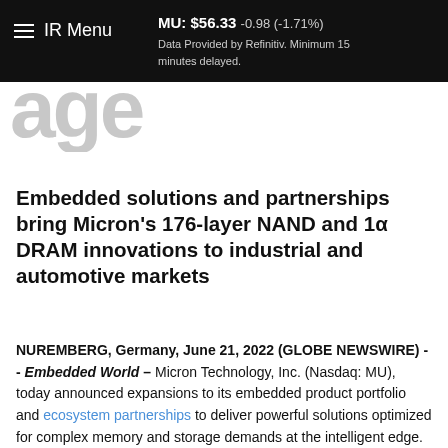MU: $56.33 -0.98 (-1.71%) Data Provided by Refinitiv. Minimum 15 minutes delayed.
IR Menu
[Figure (logo): Partial logo text visible: 'age' in large grey letters]
Embedded solutions and partnerships bring Micron's 176-layer NAND and 1α DRAM innovations to industrial and automotive markets
NUREMBERG, Germany, June 21, 2022 (GLOBE NEWSWIRE) -- Embedded World – Micron Technology, Inc. (Nasdaq: MU), today announced expansions to its embedded product portfolio and ecosystem partnerships to deliver powerful solutions optimized for complex memory and storage demands at the intelligent edge. The company is sampling to customers the world's highest capacity